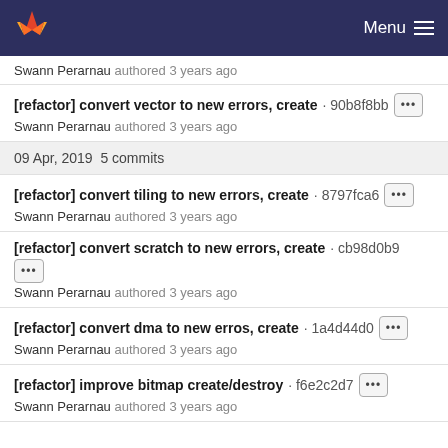GitLab — Menu
Swann Perarnau authored 3 years ago
[refactor] convert vector to new errors, create · 90b8f8bb
Swann Perarnau authored 3 years ago
09 Apr, 2019  5 commits
[refactor] convert tiling to new errors, create · 8797fca6
Swann Perarnau authored 3 years ago
[refactor] convert scratch to new errors, create · cb98d0b9
Swann Perarnau authored 3 years ago
[refactor] convert dma to new erros, create · 1a4d44d0
Swann Perarnau authored 3 years ago
[refactor] improve bitmap create/destroy · f6e2c2d7
Swann Perarnau authored 3 years ago